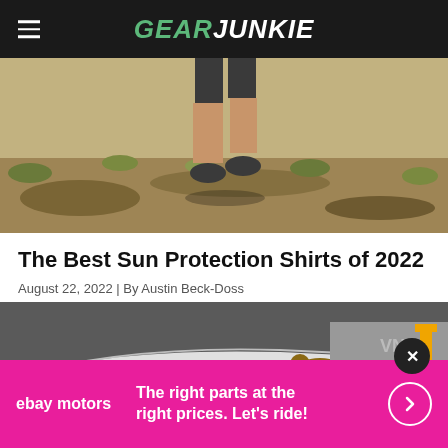GEAR JUNKIE
[Figure (photo): Person running on a trail in shorts and trail shoes on dry grassy terrain, viewed from waist down]
The Best Sun Protection Shirts of 2022
August 22, 2022 | By Austin Beck-Doss
[Figure (photo): Partial view of a white car roof in a garage/parking area with a van and yellow barrier in the background]
ebay motors  The right parts at the right prices. Let's ride!